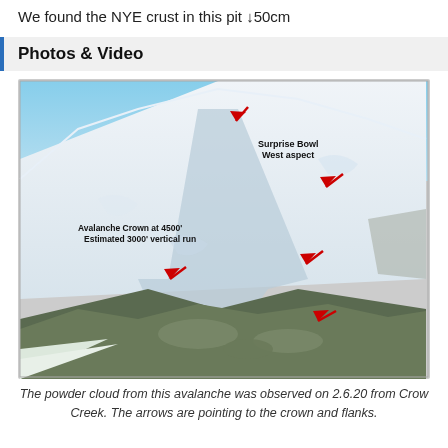We found the NYE crust in this pit ↓50cm
Photos & Video
[Figure (photo): Aerial photograph of a mountain avalanche path labeled 'Surprise Bowl West aspect' with 'Avalanche Crown at 4500' Estimated 3000' vertical run'. Multiple red arrows point to the crown and flanks of the avalanche.]
The powder cloud from this avalanche was observed on 2.6.20 from Crow Creek. The arrows are pointing to the crown and flanks.